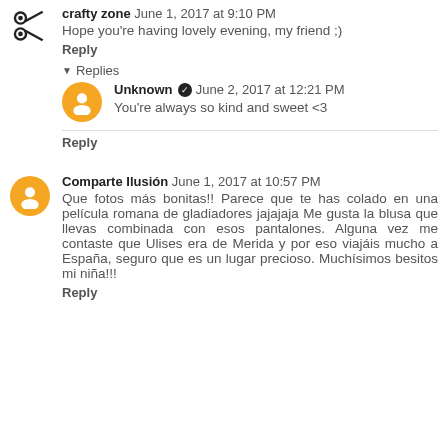crafty zone June 1, 2017 at 9:10 PM
Hope you're having lovely evening, my friend ;)
Reply
Replies
Unknown  June 2, 2017 at 12:21 PM
You're always so kind and sweet <3
Reply
Comparte Ilusión  June 1, 2017 at 10:57 PM
Que fotos más bonitas!! Parece que te has colado en una película romana de gladiadores jajajaja Me gusta la blusa que llevas combinada con esos pantalones. Alguna vez me contaste que Ulises era de Merida y por eso viajáis mucho a España, seguro que es un lugar precioso. Muchísimos besitos mi niña!!!
Reply